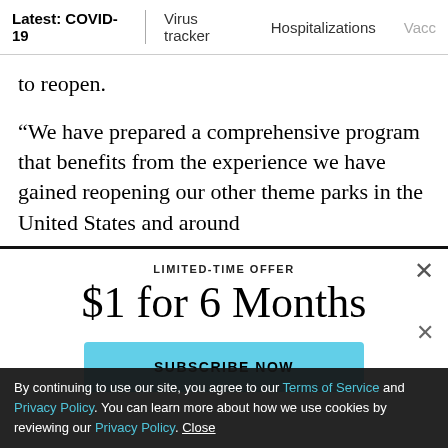Latest: COVID-19 | Virus tracker | Hospitalizations | Vacc...
to reopen.
“We have prepared a comprehensive program that benefits from the experience we have gained reopening our other theme parks in the United States and around
LIMITED-TIME OFFER
$1 for 6 Months
SUBSCRIBE NOW
By continuing to use our site, you agree to our Terms of Service and Privacy Policy. You can learn more about how we use cookies by reviewing our Privacy Policy. Close